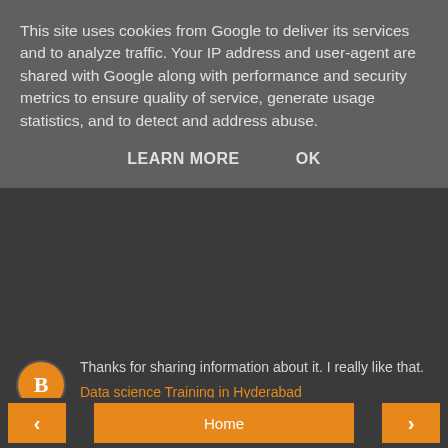This site uses cookies from Google to deliver its services and to analyze traffic. Your IP address and user-agent are shared with Google along with performance and security metrics to ensure quality of service, generate usage statistics, and to detect and address abuse.
LEARN MORE   OK
Thanks for sharing information about it. I really like that.
Data science Training in Hyderabad
Reply
To leave a comment, click the button below to sign in with Google.
SIGN IN WITH GOOGLE
Home